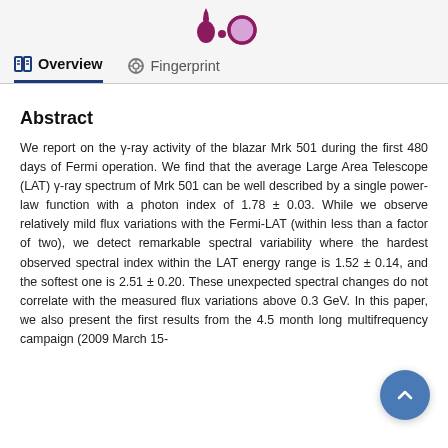[Figure (logo): Stylized purple logo with dot and circle shapes at top of page]
Overview   Fingerprint
Abstract
We report on the γ-ray activity of the blazar Mrk 501 during the first 480 days of Fermi operation. We find that the average Large Area Telescope (LAT) γ-ray spectrum of Mrk 501 can be well described by a single power-law function with a photon index of 1.78 ± 0.03. While we observe relatively mild flux variations with the Fermi-LAT (within less than a factor of two), we detect remarkable spectral variability where the hardest observed spectral index within the LAT energy range is 1.52 ± 0.14, and the softest one is 2.51 ± 0.20. These unexpected spectral changes do not correlate with the measured flux variations above 0.3 GeV. In this paper, we also present the first results from the 4.5 month long multifrequency campaign (2009 March 15-